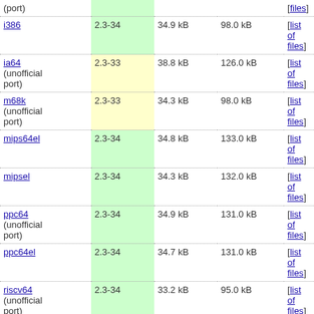| Architecture | Version | Package Size | Installed Size | Files |
| --- | --- | --- | --- | --- |
| (port) |  |  |  | [list of files] |
| i386 | 2.3-34 | 34.9 kB | 98.0 kB | [list of files] |
| ia64 (unofficial port) | 2.3-33 | 38.8 kB | 126.0 kB | [list of files] |
| m68k (unofficial port) | 2.3-33 | 34.3 kB | 98.0 kB | [list of files] |
| mips64el | 2.3-34 | 34.8 kB | 133.0 kB | [list of files] |
| mipsel | 2.3-34 | 34.3 kB | 132.0 kB | [list of files] |
| ppc64 (unofficial port) | 2.3-34 | 34.9 kB | 131.0 kB | [list of files] |
| ppc64el | 2.3-34 | 34.7 kB | 131.0 kB | [list of files] |
| riscv64 (unofficial port) | 2.3-34 | 33.2 kB | 95.0 kB | [list of files] |